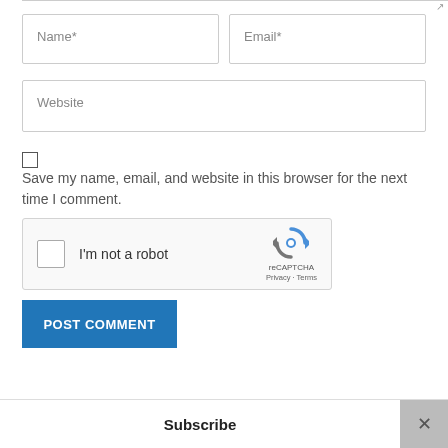[Figure (screenshot): Web form fields: Name* and Email* side by side input boxes]
[Figure (screenshot): Website input field, full width]
Save my name, email, and website in this browser for the next time I comment.
[Figure (other): reCAPTCHA widget with checkbox 'I'm not a robot', reCAPTCHA logo, Privacy and Terms links]
[Figure (other): POST COMMENT button in blue]
Subscribe